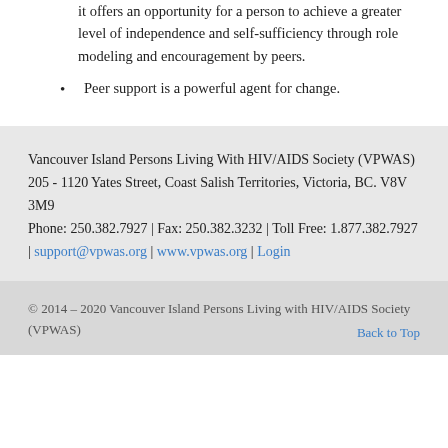it offers an opportunity for a person to achieve a greater level of independence and self-sufficiency through role modeling and encouragement by peers.
Peer support is a powerful agent for change.
Vancouver Island Persons Living With HIV/AIDS Society (VPWAS) 205 - 1120 Yates Street, Coast Salish Territories, Victoria, BC. V8V 3M9 Phone: 250.382.7927 | Fax: 250.382.3232 | Toll Free: 1.877.382.7927 | support@vpwas.org | www.vpwas.org | Login
© 2014 - 2020 Vancouver Island Persons Living with HIV/AIDS Society (VPWAS)